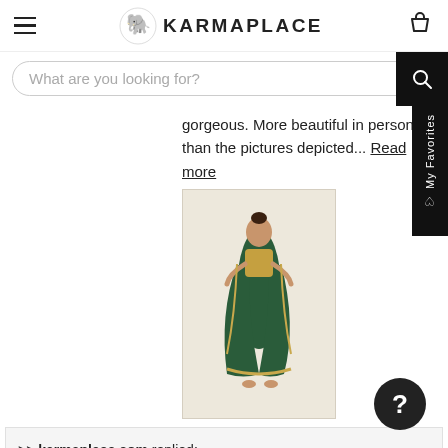KARMAPLACE
What are you looking for?
gorgeous. More beautiful in person than the pictures depicted... Read more
[Figure (photo): Woman wearing a dark green saree with gold border, standing against a light beige background]
>> karmaplace.com replied: Thank you Judy. Seeing that you had a 5-Star experience is the best thing we could hope for!. We really appreciate your business. We take pride in knowing our customers are happy with their experience with